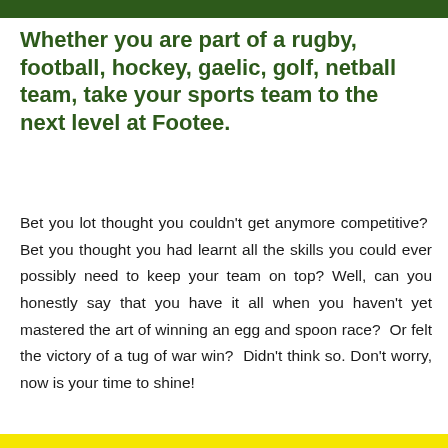Whether you are part of a rugby, football, hockey, gaelic, golf, netball team, take your sports team to the next level at Footee.
Bet you lot thought you couldn't get anymore competitive?  Bet you thought you had learnt all the skills you could ever possibly need to keep your team on top? Well, can you honestly say that you have it all when you haven't yet mastered the art of winning an egg and spoon race?  Or felt the victory of a tug of war win?  Didn't think so. Don't worry, now is your time to shine!